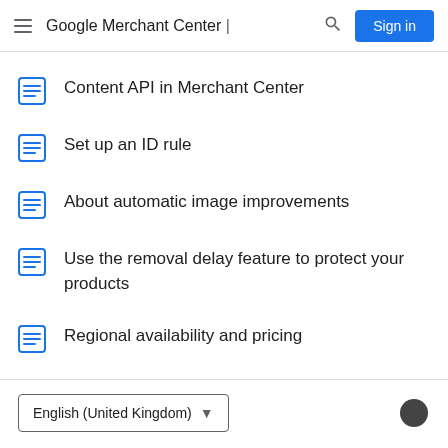Google Merchant Center | Sign in
Content API in Merchant Center
Set up an ID rule
About automatic image improvements
Use the removal delay feature to protect your products
Regional availability and pricing
English (United Kingdom)